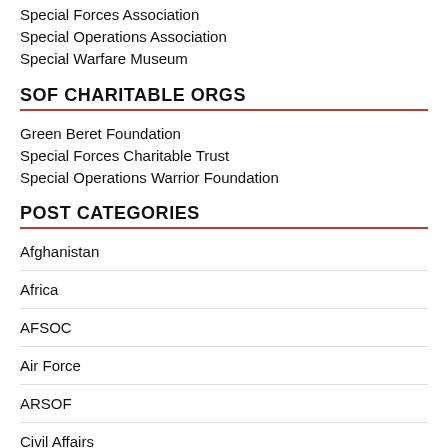Special Forces Association
Special Operations Association
Special Warfare Museum
SOF CHARITABLE ORGS
Green Beret Foundation
Special Forces Charitable Trust
Special Operations Warrior Foundation
POST CATEGORIES
Afghanistan
Africa
AFSOC
Air Force
ARSOF
Civil Affairs